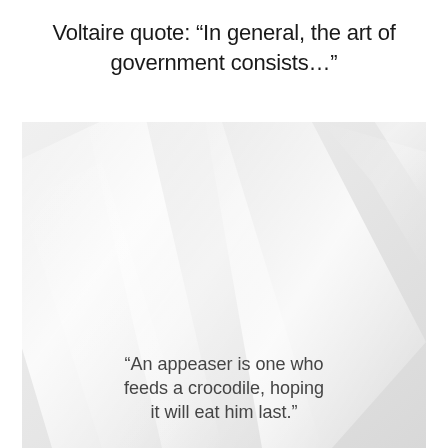Voltaire quote: “In general, the art of government consists…”
[Figure (illustration): A light grey abstract background with diagonal soft white streaks or fabric-like folds, with a partial quote visible at the bottom: “An appeaser is one who feeds a crocodile, hoping it will eat him last.”]